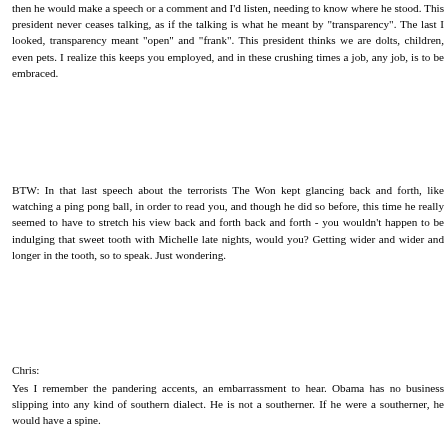then he would make a speech or a comment and I'd listen, needing to know where he stood. This president never ceases talking, as if the talking is what he meant by "transparency". The last I looked, transparency meant "open" and "frank". This president thinks we are dolts, children, even pets. I realize this keeps you employed, and in these crushing times a job, any job, is to be embraced.
BTW: In that last speech about the terrorists The Won kept glancing back and forth, like watching a ping pong ball, in order to read you, and though he did so before, this time he really seemed to have to stretch his view back and forth back and forth - you wouldn't happen to be indulging that sweet tooth with Michelle late nights, would you? Getting wider and wider and longer in the tooth, so to speak. Just wondering.
Chris:
Yes I remember the pandering accents, an embarrassment to hear. Obama has no business slipping into any kind of southern dialect. He is not a southerner. If he were a southerner, he would have a spine.